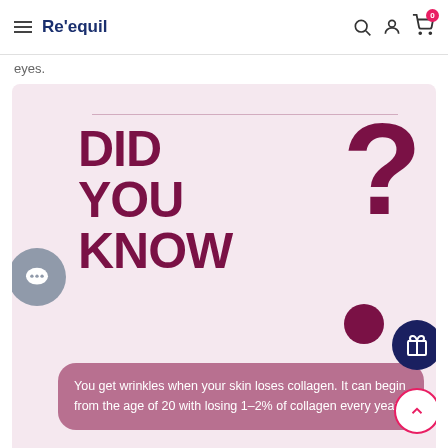Re'equil
eyes.
[Figure (infographic): Pink-background infographic with large dark-maroon text reading 'DID YOU KNOW?' with a large question mark, and a mauve box containing: 'You get wrinkles when your skin loses collagen. It can begin from the age of 20 with losing 1-2% of collagen every year.']